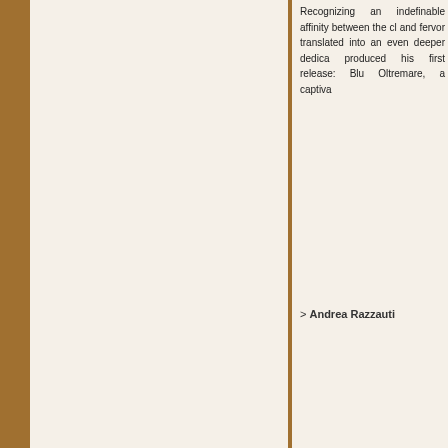Recognizing an indefinable affinity between the cl... and fervor translated into an even deeper dedica... produced his first release: Blu Oltremare, a captiva...
> Andrea Razzauti
[Figure (photo): Portrait photo of a man wearing sunglasses and a scarf, smiling]
JACK MAGNET: KEYS
Driven by a warm, sophisticated approach to old s... Global Warming, veteran composer and keyboa... community's powerful introduction to Iceland's... in the world. Beyond the cool grooves, infectiou... exciting creative reunion of longtime musical frien... artist Paul Brown. In addition to producing and mi... eight tracks, including its simmering sensual funk-... The track represents a fascinating full circle for bo...